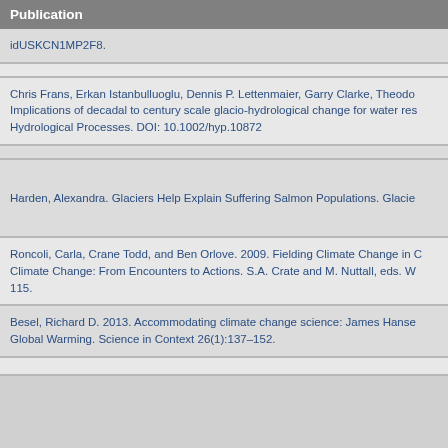Publication
idUSKCN1MP2F8.
Chris Frans, Erkan Istanbulluoglu, Dennis P. Lettenmaier, Garry Clarke, Theodo Implications of decadal to century scale glacio-hydrological change for water res Hydrological Processes. DOI: 10.1002/hyp.10872
Harden, Alexandra. Glaciers Help Explain Suffering Salmon Populations. Glacie
Roncoli, Carla, Crane Todd, and Ben Orlove. 2009. Fielding Climate Change in C Climate Change: From Encounters to Actions. S.A. Crate and M. Nuttall, eds. W 115.
Besel, Richard D. 2013. Accommodating climate change science: James Hanse Global Warming. Science in Context 26(1):137–152.